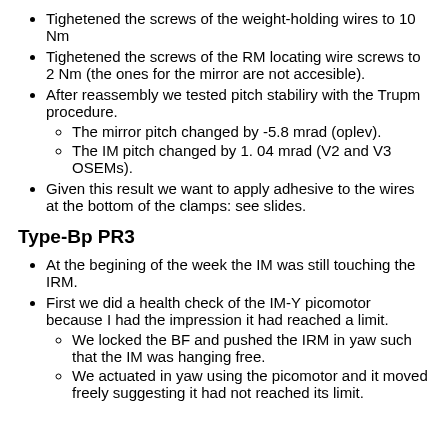Tighetened the screws of the weight-holding wires to 10 Nm
Tighetened the screws of the RM locating wire screws to 2 Nm (the ones for the mirror are not accesible).
After reassembly we tested pitch stabiliry with the Trupm procedure.
The mirror pitch changed by -5.8 mrad (oplev).
The IM pitch changed by 1. 04 mrad (V2 and V3 OSEMs).
Given this result we want to apply adhesive to the wires at the bottom of the clamps: see slides.
Type-Bp PR3
At the begining of the week the IM was still touching the IRM.
First we did a health check of the IM-Y picomotor because I had the impression it had reached a limit.
We locked the BF and pushed the IRM in yaw such that the IM was hanging free.
We actuated in yaw using the picomotor and it moved freely suggesting it had not reached its limit.